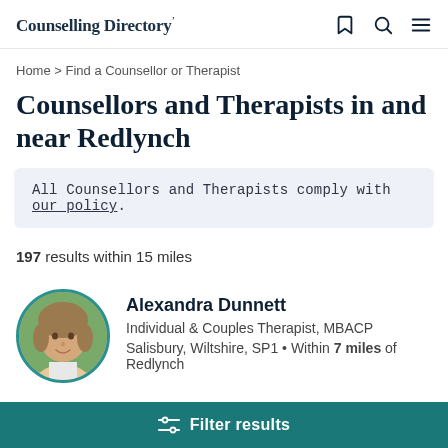Counselling Directory
Home > Find a Counsellor or Therapist
Counsellors and Therapists in and near Redlynch
All Counsellors and Therapists comply with our policy.
197 results within 15 miles
Alexandra Dunnett
Individual & Couples Therapist, MBACP
Salisbury, Wiltshire, SP1 • Within 7 miles of Redlynch
Filter results